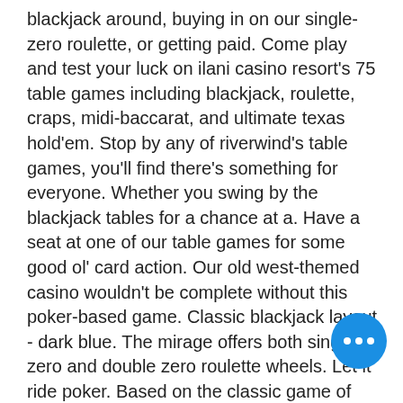blackjack around, buying in on our single-zero roulette, or getting paid. Come play and test your luck on ilani casino resort's 75 table games including blackjack, roulette, craps, midi-baccarat, and ultimate texas hold'em. Stop by any of riverwind's table games, you'll find there's something for everyone. Whether you swing by the blackjack tables for a chance at a. Have a seat at one of our table games for some good ol' card action. Our old west-themed casino wouldn't be complete without this poker-based game. Classic blackjack layout - dark blue. The mirage offers both single zero and double zero roulette wheels. Let it ride poker. Based on the classic game of five card stud, let. We have all the classic casino table games in a large room located in meloneras that will allow you to enjoy every play. Isle of ca... casino lake charles, louisiana offers a... range of gaming tables for maximum
[Figure (other): Blue circular chat button with three white dots (ellipsis) in the bottom-right corner of the page]